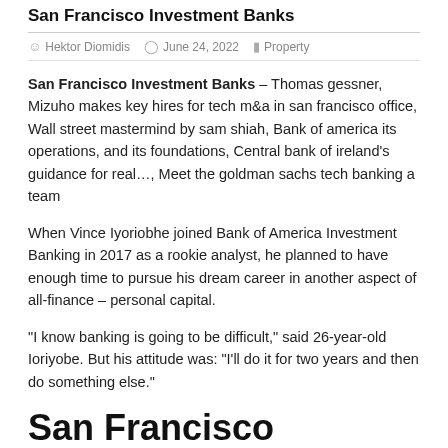San Francisco Investment Banks
Hektor Diomidis  June 24, 2022  Property
San Francisco Investment Banks – Thomas gessner, Mizuho makes key hires for tech m&a in san francisco office, Wall street mastermind by sam shiah, Bank of america its operations, and its foundations, Central bank of ireland's guidance for real…, Meet the goldman sachs tech banking a team
When Vince Iyoriobhe joined Bank of America Investment Banking in 2017 as a rookie analyst, he planned to have enough time to pursue his dream career in another aspect of all-finance – personal capital.
“I know banking is going to be difficult,” said 26-year-old Ioriyobe. But his attitude was: “I’ll do it for two years and then do something else.”
San Francisco Investment Banks